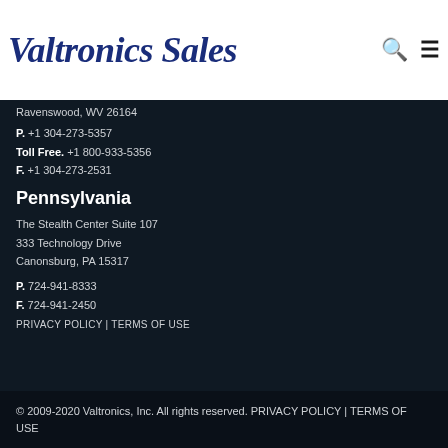[Figure (logo): Valtronics Sales cursive logo in dark blue with search and menu icons]
Ravenswood, WV 26164
P. +1 304-273-5357
Toll Free. +1 800-933-5356
F. +1 304-273-2531
Pennsylvania
The Stealth Center Suite 107
333 Technology Drive
Canonsburg, PA 15317
P. 724-941-8333
F. 724-941-2450
PRIVACY POLICY | TERMS OF USE
© 2009-2020 Valtronics, Inc. All rights reserved. PRIVACY POLICY | TERMS OF USE